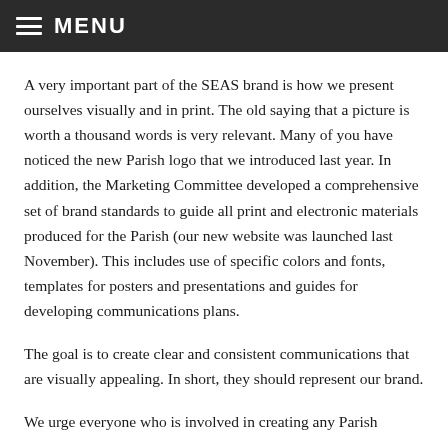MENU
A very important part of the SEAS brand is how we present ourselves visually and in print. The old saying that a picture is worth a thousand words is very relevant. Many of you have noticed the new Parish logo that we introduced last year. In addition, the Marketing Committee developed a comprehensive set of brand standards to guide all print and electronic materials produced for the Parish (our new website was launched last November). This includes use of specific colors and fonts, templates for posters and presentations and guides for developing communications plans.
The goal is to create clear and consistent communications that are visually appealing. In short, they should represent our brand.
We urge everyone who is involved in creating any Parish